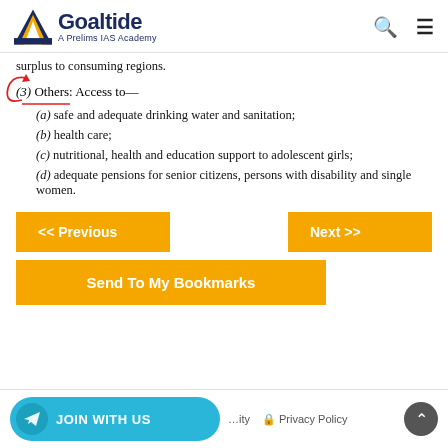[Figure (logo): Goaltide - A Prelims IAS Academy logo with orange triangle and dark blue text]
surplus to consuming regions.
(3) Others: Access to—
(a) safe and adequate drinking water and sanitation;
(b) health care;
(c) nutritional, health and education support to adolescent girls;
(d) adequate pensions for senior citizens, persons with disability and single women.
<< Previous | Next >>
Send To My Bookmarks
JOIN WITH US | Privacy Policy